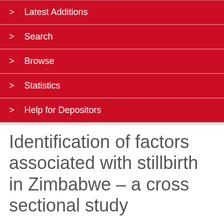> Latest Additions
> Search
> Browse
> Statistics
> Help for Depositors
Identification of factors associated with stillbirth in Zimbabwe – a cross sectional study
+ Tools